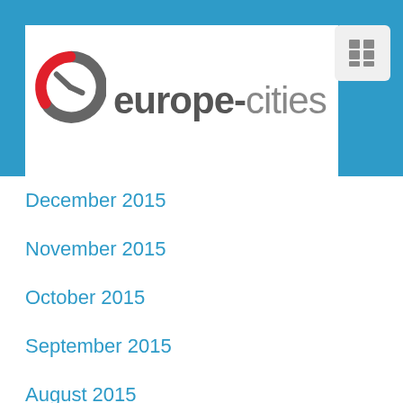europe-cities
December 2015
November 2015
October 2015
September 2015
August 2015
July 2015
June 2015
May 2015
April 2015
March 2015